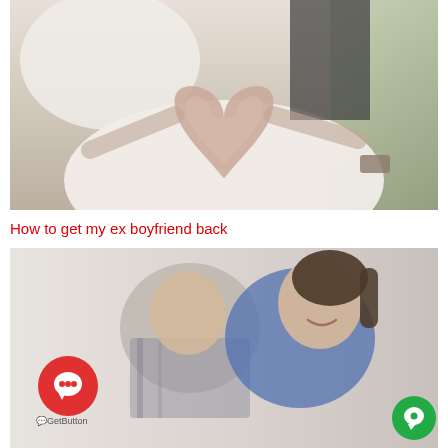[Figure (photo): Wedding photo of two people forming a heart shape with their hands. The woman is wearing a white lace dress and the man is wearing a dark suit with a watch.]
How to get my ex boyfriend back
[Figure (photo): Photo of a young couple smiling and laughing together. A man with short hair leans in toward a woman in a blue top who is laughing. A GetButton chat widget appears in the lower-left corner, and a green chat icon appears in the lower-right corner.]